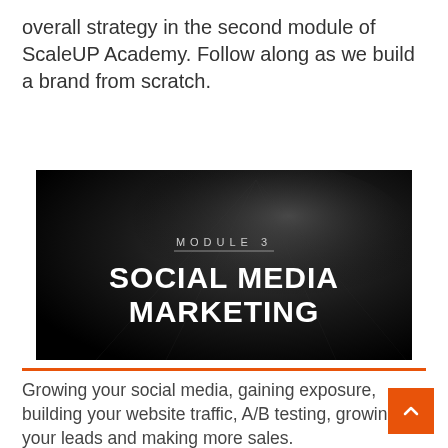overall strategy in the second module of ScaleUP Academy. Follow along as we build a brand from scratch.
[Figure (photo): Dark promotional image for Module 3: Social Media Marketing with bold white text on black background with subtle light rays]
Growing your social media, gaining exposure, building your website traffic, A/B testing, growing your leads and making more sales.